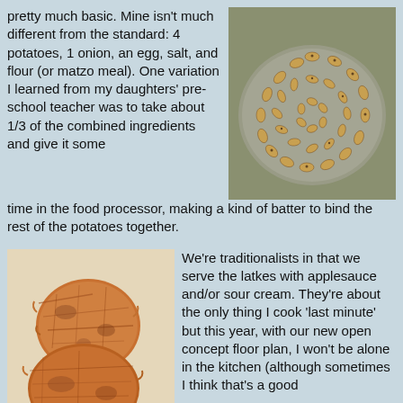pretty much basic. Mine isn't much different from the standard: 4 potatoes, 1 onion, an egg, salt, and flour (or matzo meal). One variation I learned from my daughters' pre-school teacher was to take about 1/3 of the combined ingredients and give it some time in the food processor, making a kind of batter to bind the rest of the potatoes together.
[Figure (photo): A plate of rugelach (small rolled pastries) arranged in a circular pattern on a round plate, viewed from above.]
[Figure (photo): Two golden-brown potato latkes on a white surface, showing crispy fried texture.]
We're traditionalists in that we serve the latkes with applesauce and/or sour cream. They're about the only thing I cook 'last minute' but this year, with our new open concept floor plan, I won't be alone in the kitchen (although sometimes I think that's a good thing.)